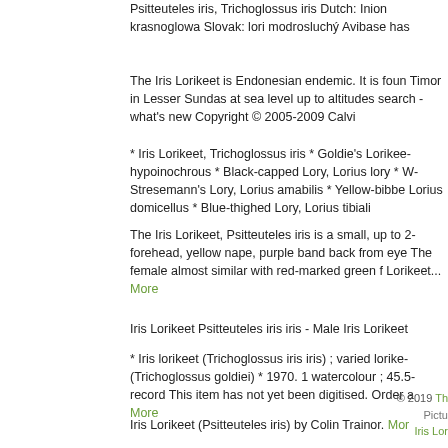Psitteuteles iris, Trichoglossus iris Dutch: Inion krasnoglowa Slovak: lori modrosluchý Avibase has...
The Iris Lorikeet is Endonesian endemic. It is found in Timor in Lesser Sundas at sea level up to altitudes... search - what's new Copyright © 2005-2009 Calvin...
* Iris Lorikeet, Trichoglossus iris * Goldie's Lorikeet... hypoinochrous * Black-capped Lory, Lorius lory * W... Stresemann's Lory, Lorius amabilis * Yellow-bibbed... Lorius domicellus * Blue-thighed Lory, Lorius tibiali...
The Iris Lorikeet, Psitteuteles iris is a small, up to 2... forehead, yellow nape, purple band back from eye... The female almost similar with red-marked green f... Lorikeet... More
Iris Lorikeet Psitteuteles iris iris - Male Iris Lorikeet...
* Iris lorikeet (Trichoglossus iris iris) ; varied lorikeet... (Trichoglossus goldiei) * 1970. 1 watercolour ; 45.5... record This item has not yet been digitised. Order a... More
Iris Lorikeet (Psitteuteles iris) by Colin Trainor. More
© 2019 Th... Pictu... Iris Lor...